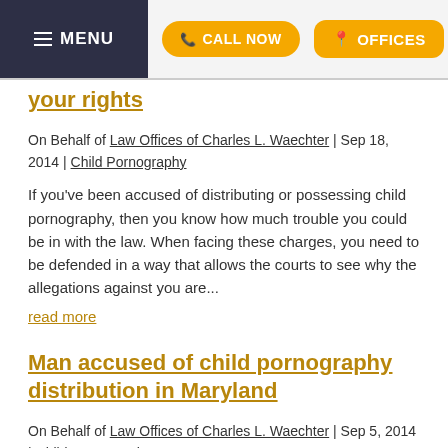MENU | CALL NOW | OFFICES
your rights
On Behalf of Law Offices of Charles L. Waechter | Sep 18, 2014 | Child Pornography
If you've been accused of distributing or possessing child pornography, then you know how much trouble you could be in with the law. When facing these charges, you need to be defended in a way that allows the courts to see why the allegations against you are...
read more
Man accused of child pornography distribution in Maryland
On Behalf of Law Offices of Charles L. Waechter | Sep 5, 2014 | Child Pornography